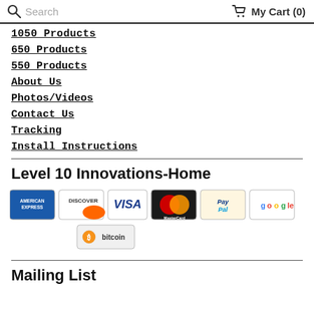Search  My Cart (0)
1050 Products
650 Products
550 Products
About Us
Photos/Videos
Contact Us
Tracking
Install Instructions
Level 10 Innovations-Home
[Figure (infographic): Payment method logos: American Express, Discover, Visa, MasterCard, PayPal, Google, and Bitcoin]
Mailing List